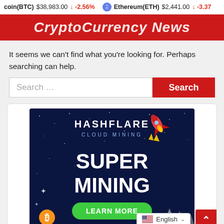Bitcoin(BTC) $38,983.00 ↓ -2.56%   Ethereum(ETH) $2,441.00 ↓ -3.37%
[Figure (illustration): Red banner with white italic text reading 'CryptoCurrency News']
It seems we can't find what you're looking for. Perhaps searching can help.
[Figure (screenshot): Search input box with placeholder 'Search ...' and a red Search button]
[Figure (infographic): HashFlare Cloud Mining advertisement banner showing 'SUPER MINING' text in large white letters on a dark blue starry background with a rocket ship graphic, green 'LEARN MORE' button, Bitcoin logo, and mining equipment graphics at the bottom]